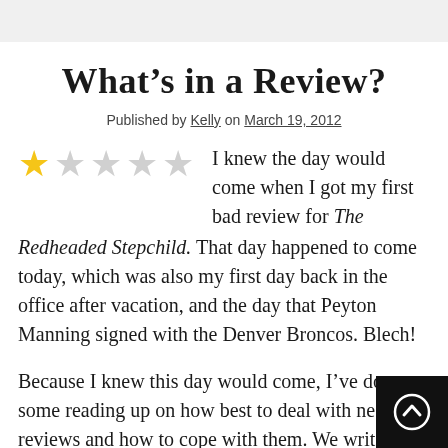What’s in a Review?
Published by Kelly on March 19, 2012
I knew the day would come when I got my first bad review for The Redheaded Stepchild. That day happened to come today, which was also my first day back in the office after vacation, and the day that Peyton Manning signed with the Denver Broncos. Blech!
Because I knew this day would come, I’ve done some reading up on how best to deal with negative reviews and how to cope with them. We writers are a sensitive bunch, and it’s hard to not take these kinds of things personally. Luckily for me, my bad review was pretty mild as far as bad reviews go. The guy (or girl, but I’m